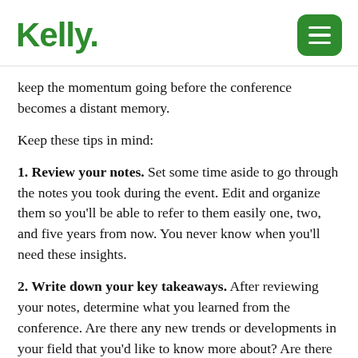Kelly. [logo] [menu button]
keep the momentum going before the conference becomes a distant memory.
Keep these tips in mind:
1. Review your notes. Set some time aside to go through the notes you took during the event. Edit and organize them so you'll be able to refer to them easily one, two, and five years from now. You never know when you'll need these insights.
2. Write down your key takeaways. After reviewing your notes, determine what you learned from the conference. Are there any new trends or developments in your field that you'd like to know more about? Are there challenges and solutions that other companies or professionals are dealing with? Are there new